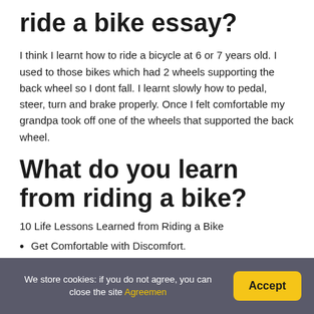ride a bike essay?
I think I learnt how to ride a bicycle at 6 or 7 years old. I used to those bikes which had 2 wheels supporting the back wheel so I dont fall. I learnt slowly how to pedal, steer, turn and brake properly. Once I felt comfortable my grandpa took off one of the wheels that supported the back wheel.
What do you learn from riding a bike?
10 Life Lessons Learned from Riding a Bike
Get Comfortable with Discomfort.
We store cookies: if you do not agree, you can close the site Agreemen